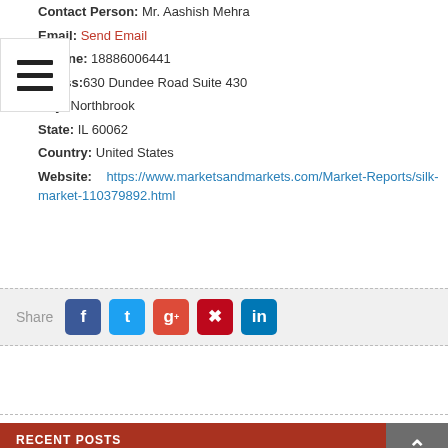Contact Person: Mr. Aashish Mehra
Email: Send Email
Phone: 18886006441
Address: 630 Dundee Road Suite 430
City: Northbrook
State: IL 60062
Country: United States
Website: https://www.marketsandmarkets.com/Market-Reports/silk-market-110379892.html
[Figure (other): Social share bar with Facebook, Twitter, Google+, Pinterest, and LinkedIn buttons]
RECENT POSTS
Sunber Hair Celebrates Brand Day in August with Free Wig